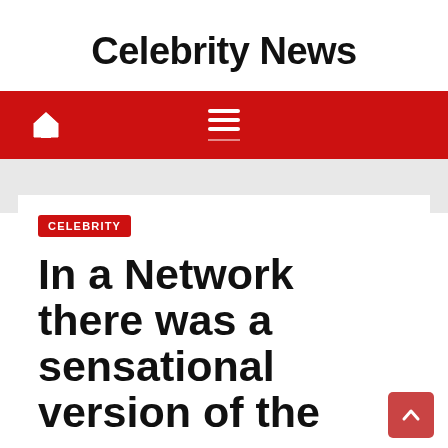Celebrity News
[Figure (screenshot): Red navigation bar with home icon and hamburger menu icon on white background]
CELEBRITY
In a Network there was a sensational version of the